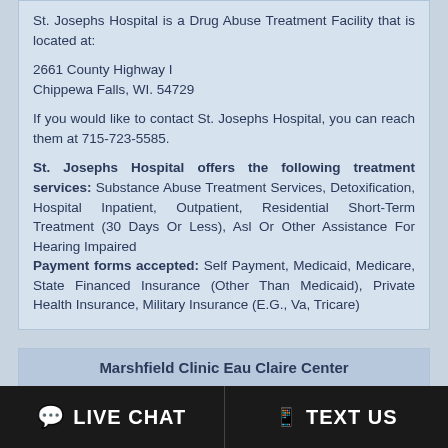St. Josephs Hospital is a Drug Abuse Treatment Facility that is located at:
2661 County Highway I
Chippewa Falls, WI. 54729
If you would like to contact St. Josephs Hospital, you can reach them at 715-723-5585.
St. Josephs Hospital offers the following treatment services: Substance Abuse Treatment Services, Detoxification, Hospital Inpatient, Outpatient, Residential Short-Term Treatment (30 Days Or Less), Asl Or Other Assistance For Hearing Impaired
Payment forms accepted: Self Payment, Medicaid, Medicare, State Financed Insurance (Other Than Medicaid), Private Health Insurance, Military Insurance (E.G., Va, Tricare)
Marshfield Clinic Eau Claire Center
8.9 miles from Chippewa Falls, Wisconsin
Marshfield Clinic Eau Claire Center is a Drug and Alcohol Rehabilitation Program that is located at:
LIVE CHAT
TEXT US